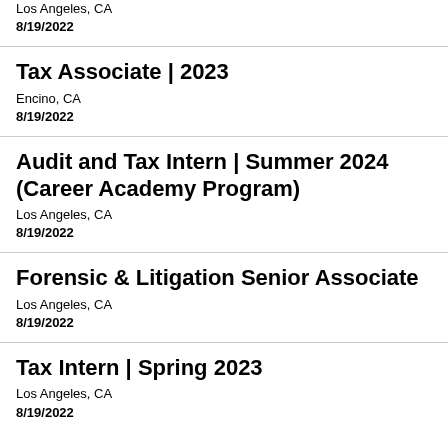Tax Associate | 2023 (partial, top cut off)
Los Angeles, CA
8/19/2022
Tax Associate | 2023
Encino, CA
8/19/2022
Audit and Tax Intern | Summer 2024 (Career Academy Program)
Los Angeles, CA
8/19/2022
Forensic & Litigation Senior Associate
Los Angeles, CA
8/19/2022
Tax Intern | Spring 2023
Los Angeles, CA
8/19/2022